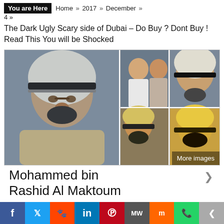You are Here  Home » 2017 » December » 4 »
The Dark Ugly Scary side of Dubai – Do Buy ? Dont Buy ! Read This You will be Shocked
[Figure (photo): Collage of photos of Mohammed bin Rashid Al Maktoum with a 'More images' overlay]
Mohammed bin Rashid Al Maktoum
f  Twitter  Reddit  in  Pinterest  MW  Mix  WhatsApp  Share